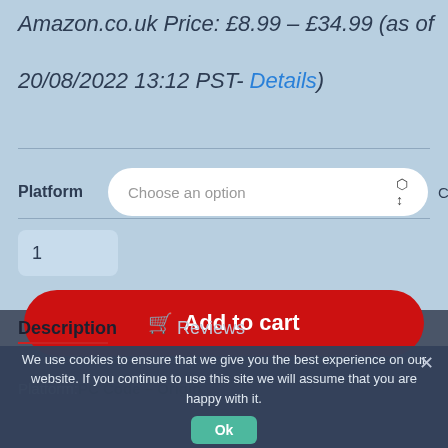Amazon.co.uk Price: £8.99 – £34.99 (as of 20/08/2022 13:12 PST- Details)
Platform  Choose an option  Clear
1
Add to cart
Description
Reviews
Platform:PC Code – Origin
We use cookies to ensure that we give you the best experience on our website. If you continue to use this site we will assume that you are happy with it.
Ok